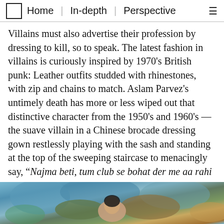Home | In-depth | Perspective
Villains must also advertise their profession by dressing to kill, so to speak. The latest fashion in villains is curiously inspired by 1970's British punk: Leather outfits studded with rhinestones, with zip and chains to match. Aslam Parvez's untimely death has more or less wiped out that distinctive character from the 1950's and 1960's — the suave villain in a Chinese brocade dressing gown restlessly playing with the sash and standing at the top of the sweeping staircase to menacingly say, “Najma beti, tum club se bohat der me aa rahi ho.”
[Figure (photo): A photograph visible at the bottom of the page, partially cropped, showing a person against a colorful background.]